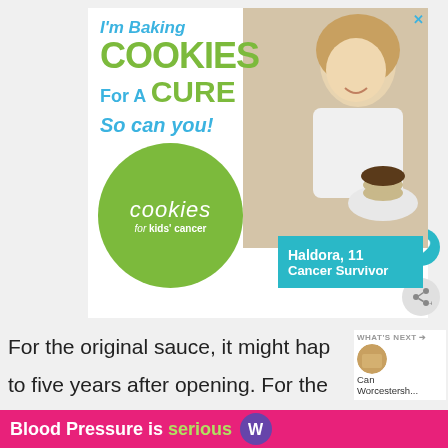[Figure (infographic): Advertisement banner for 'Cookies for Kids' Cancer'. Text reads: I'm Baking COOKIES For A CURE So can you! with green circle logo and photo of a girl holding a plate of cookies. Teal box shows: Haldora, 11 Cancer Survivor.]
For the original sauce, it might hap... to five years after opening. For the new
[Figure (infographic): Bottom banner ad: 'Blood Pressure is serious' with purple icon on pink/magenta background.]